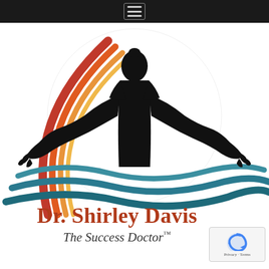[Figure (logo): Dr. Shirley Davis 'The Success Doctor' logo featuring a black silhouette of a person with arms outstretched, a multicolored arc (red, orange, yellow) on the left side, and teal wave shapes at the bottom, all on a white background.]
Dr. Shirley Davis
The Success Doctor™